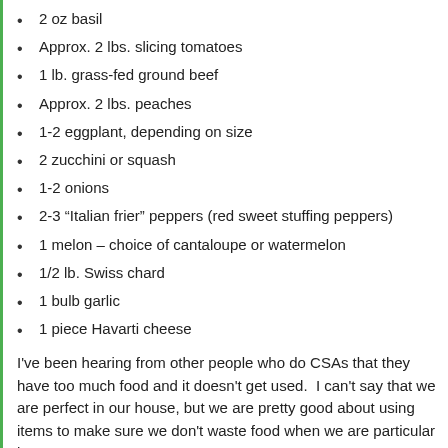2 oz basil
Approx. 2 lbs. slicing tomatoes
1 lb. grass-fed ground beef
Approx. 2 lbs. peaches
1-2 eggplant, depending on size
2 zucchini or squash
1-2 onions
2-3 “Italian frier” peppers (red sweet stuffing peppers)
1 melon – choice of cantaloupe or watermelon
1/2 lb. Swiss chard
1 bulb garlic
1 piece Havarti cheese
I've been hearing from other people who do CSAs that they have too much food and it doesn't get used. I can't say that we are perfect in our house, but we are pretty good about using items to make sure we don't waste food when we are particular busy.
Almost all of the above items could be froze with little effort. I love pu... of winter and getting a taste of fresh local food.
I think we do a nice a good list this is also the land of i...